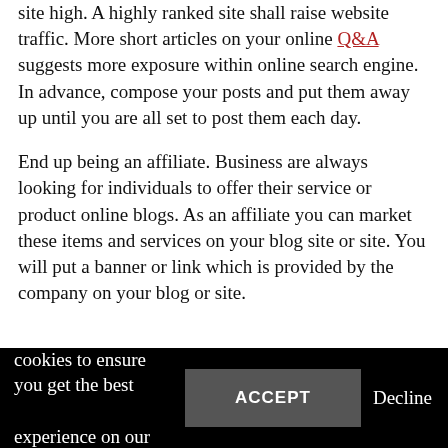site high. A highly ranked site shall raise website traffic. More short articles on your online Q&A suggests more exposure within online search engine. In advance, compose your posts and put them away up until you are all set to post them each day.
End up being an affiliate. Business are always looking for individuals to offer their service or product online blogs. As an affiliate you can market these items and services on your blog site or site. You will put a banner or link which is provided by the company on your blog or site.
This website uses cookies to ensure you get the best experience on our website  ACCEPT  Decline